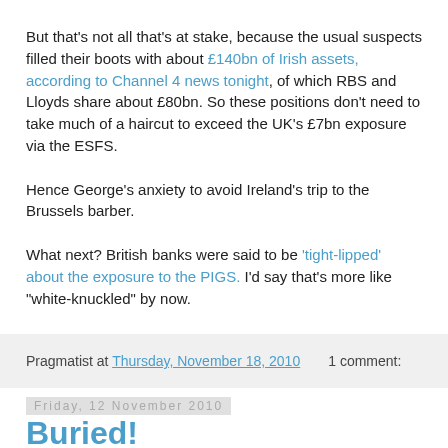But that's not all that's at stake, because the usual suspects filled their boots with about £140bn of Irish assets, according to Channel 4 news tonight, of which RBS and Lloyds share about £80bn. So these positions don't need to take much of a haircut to exceed the UK's £7bn exposure via the ESFS.
Hence George's anxiety to avoid Ireland's trip to the Brussels barber.
What next? British banks were said to be 'tight-lipped' about the exposure to the PIGS. I'd say that's more like "white-knuckled" by now.
Image from Gals Rock.
Pragmatist at Thursday, November 18, 2010   1 comment:
Friday, 12 November 2010
Buried!